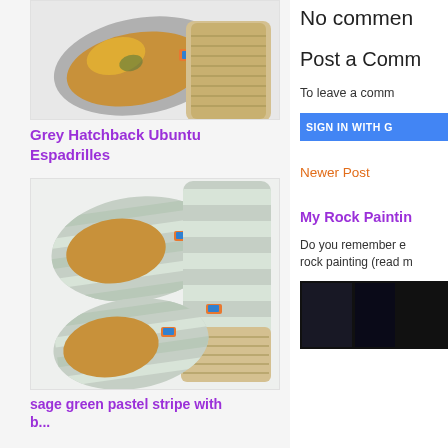[Figure (photo): Photo of grey hatchback ubuntu espadrilles shoes - top view and side view on light background]
Grey Hatchback Ubuntu Espadrilles
[Figure (photo): Photo of sage green pastel stripe espadrilles - top view and side view on light background]
sage green pastel stripe with
No comments
Post a Comm
To leave a comm
SIGN IN WITH G
Newer Post
My Rock Paintin
Do you remember e rock painting (read m
[Figure (photo): Dark/black photograph thumbnail]